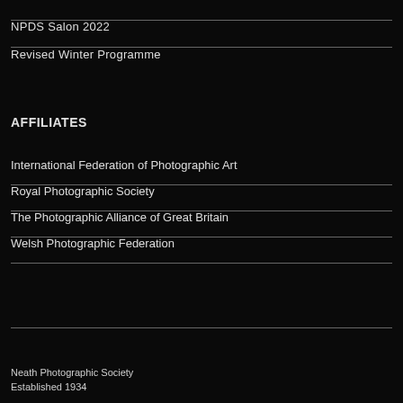NPDS Salon 2022
Revised Winter Programme
AFFILIATES
International Federation of Photographic Art
Royal Photographic Society
The Photographic Alliance of Great Britain
Welsh Photographic Federation
Neath Photographic Society
Established 1934